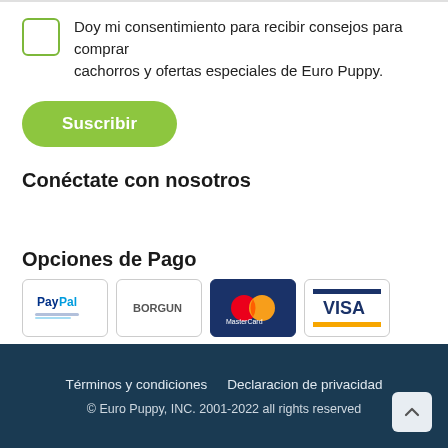Doy mi consentimiento para recibir consejos para comprar cachorros y ofertas especiales de Euro Puppy.
Suscribir
Conéctate con nosotros
Opciones de Pago
[Figure (logo): Payment logos: PayPal, Borgun, MasterCard, Visa]
Términos y condiciones   Declaracion de privacidad
© Euro Puppy, INC. 2001-2022 all rights reserved